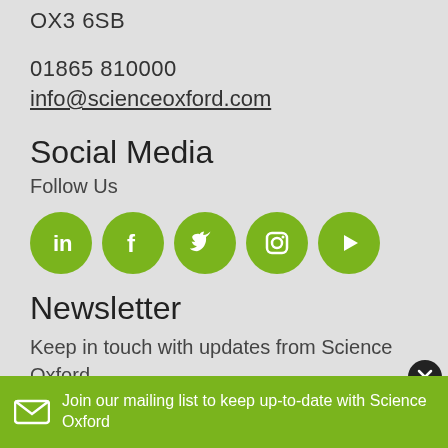OX3 6SB
01865 810000
info@scienceoxford.com
Social Media
Follow Us
[Figure (infographic): Five green circular social media icons: LinkedIn, Facebook, Twitter, Instagram, YouTube]
Newsletter
Keep in touch with updates from Science Oxford.
Find out more
Join our mailing list to keep up-to-date with Science Oxford